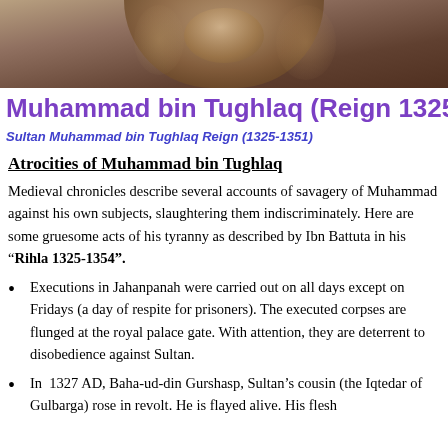[Figure (photo): Partial view of a circular mosaic or fresco artwork with brown, amber, and dark tones, showing historical figures or decorative patterns]
Muhammad bin Tughlaq (Reign 1325-1351)
Sultan Muhammad bin Tughlaq Reign (1325-1351)
Atrocities of Muhammad bin Tughlaq
Medieval chronicles describe several accounts of savagery of Muhammad against his own subjects, slaughtering them indiscriminately. Here are some gruesome acts of his tyranny as described by Ibn Battuta in his "Rihla 1325-1354".
Executions in Jahanpanah were carried out on all days except on Fridays (a day of respite for prisoners). The executed corpses are flunged at the royal palace gate. With attention, they are deterrent to disobedience against Sultan.
In 1327 AD, Baha-ud-din Gurshasp, Sultan's cousin (the Iqtedar of Gulbarga) rose in revolt. He is flayed alive. His flesh